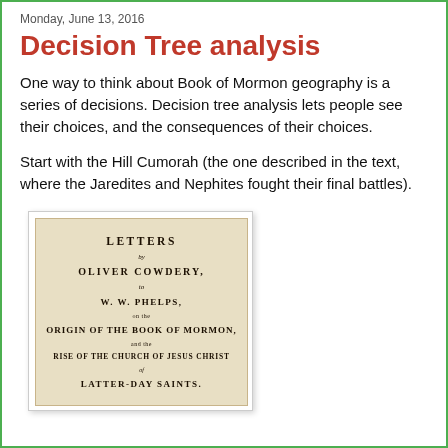Monday, June 13, 2016
Decision Tree analysis
One way to think about Book of Mormon geography is a series of decisions. Decision tree analysis lets people see their choices, and the consequences of their choices.
Start with the Hill Cumorah (the one described in the text, where the Jaredites and Nephites fought their final battles).
[Figure (photo): Title page of 'Letters by Oliver Cowdery to W.W. Phelps on the Origin of the Book of Mormon, and the Rise of the Church of Jesus Christ of Latter-day Saints' — an old book page with aged/yellowed background.]